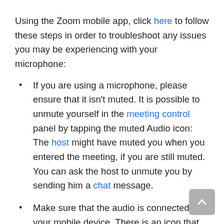Using the Zoom mobile app, click here to follow these steps in order to troubleshoot any issues you may be experiencing with your microphone:
If you are using a microphone, please ensure that it isn't muted. It is possible to unmute yourself in the meeting control panel by tapping the muted Audio icon: The host might have muted you when you entered the meeting, if you are still muted. You can ask the host to unmute you by sending him a chat message.
Make sure that the audio is connected to your mobile device. There is an icon that